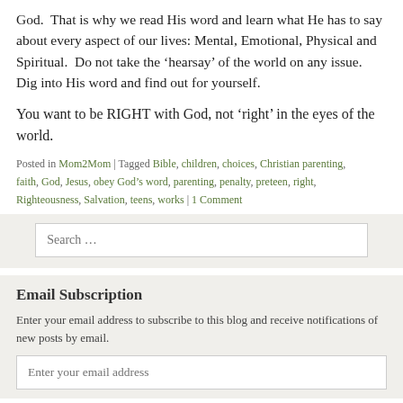God.  That is why we read His word and learn what He has to say about every aspect of our lives: Mental, Emotional, Physical and Spiritual.  Do not take the ‘hearsay’ of the world on any issue.  Dig into His word and find out for yourself.
You want to be RIGHT with God, not ‘right’ in the eyes of the world.
Posted in Mom2Mom | Tagged Bible, children, choices, Christian parenting, faith, God, Jesus, obey God’s word, parenting, penalty, preteen, right, Righteousness, Salvation, teens, works | 1 Comment
Search ...
Email Subscription
Enter your email address to subscribe to this blog and receive notifications of new posts by email.
Enter your email address